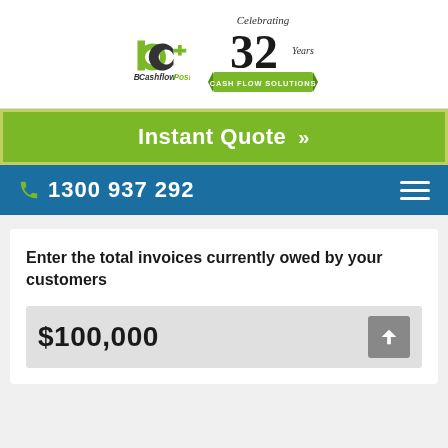[Figure (logo): BCashflow Positive company logo with green 'bc+' icon and italic text 'BCashflow Positive', alongside a '32 Years Cash Flow Solutions' celebrating badge with green ribbon]
Instant Quote »
1300 937 292
Enter the total invoices currently owed by your customers
$100,000